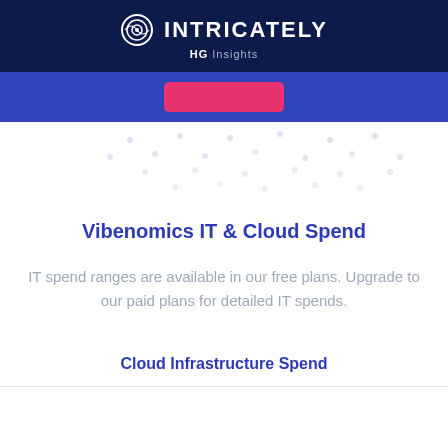INTRICATELY HG Insights
[Figure (illustration): Dark blue banner with a pink/red button centered, followed by a decorative dot grid pattern on white background]
Vibenomics IT & Cloud Spend
IT spend ranges are available in our free plans. Upgrade to our paid plans for detailed IT spends.
Cloud Infrastructure Spend